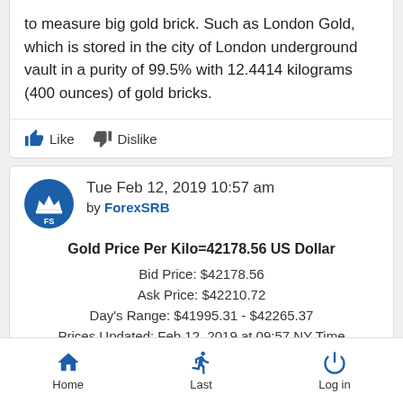to measure big gold brick. Such as London Gold, which is stored in the city of London underground vault in a purity of 99.5% with 12.4414 kilograms (400 ounces) of gold bricks.
Like   Dislike
Tue Feb 12, 2019 10:57 am by ForexSRB
Gold Price Per Kilo=42178.56 US Dollar
Bid Price: $42178.56
Ask Price: $42210.72
Day's Range: $41995.31 - $42265.37
Prices Updated: Feb 12, 2019 at 09:57 NY Time
Like   Dislike
Home   Last   Log in